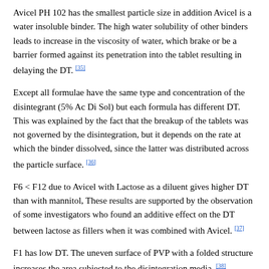Avicel PH 102 has the smallest particle size in addition Avicel is a water insoluble binder. The high water solubility of other binders leads to increase in the viscosity of water, which brake or be a barrier formed against its penetration into the tablet resulting in delaying the DT. [35]
Except all formulae have the same type and concentration of the disintegrant (5% Ac Di Sol) but each formula has different DT. This was explained by the fact that the breakup of the tablets was not governed by the disintegration, but it depends on the rate at which the binder dissolved, since the latter was distributed across the particle surface. [36]
F6 < F12 due to Avicel with Lactose as a diluent gives higher DT than with mannitol, These results are supported by the observation of some investigators who found an additive effect on the DT between lactose as fillers when it was combined with Avicel. [37]
F1 has low DT. The uneven surface of PVP with a folded structure increases the area subjected to the disintegration media. [38]
In-vivo oral disintegration time